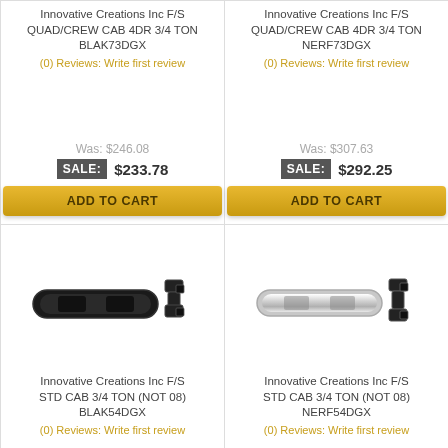Innovative Creations Inc F/S QUAD/CREW CAB 4DR 3/4 TON BLAK73DGX
(0) Reviews: Write first review
Was: $246.08
SALE: $233.78
ADD TO CART
Innovative Creations Inc F/S QUAD/CREW CAB 4DR 3/4 TON NERF73DGX
(0) Reviews: Write first review
Was: $307.63
SALE: $292.25
ADD TO CART
[Figure (photo): Black nerf bar / step bar product with mounting hardware]
Innovative Creations Inc F/S STD CAB 3/4 TON (NOT 08) BLAK54DGX
(0) Reviews: Write first review
[Figure (photo): Chrome nerf bar / step bar product with mounting hardware]
Innovative Creations Inc F/S STD CAB 3/4 TON (NOT 08) NERF54DGX
(0) Reviews: Write first review